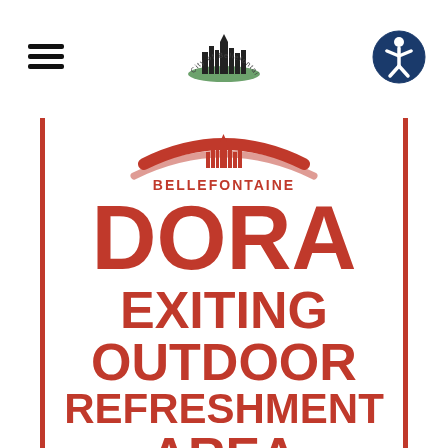[Figure (logo): Hamburger menu icon (three horizontal lines) in top left of page header]
[Figure (logo): City of Bellefontaine official logo/seal centered in page header]
[Figure (logo): Accessibility icon button (person in circle) in top right of page header]
[Figure (infographic): DORA sign for City of Bellefontaine showing BELLEFONTAINE arc logo at top, then large text reading DORA, EXITING, OUTDOOR, REFRESHMENT, AREA in bold red letters on white background with red side borders]